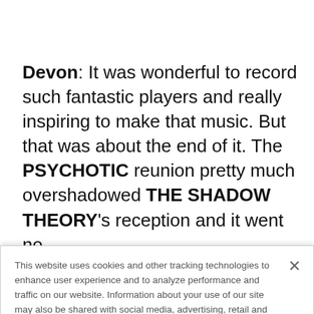Devon: It was wonderful to record such fantastic players and really inspiring to make that music. But that was about the end of it. The PSYCHOTIC reunion pretty much overshadowed THE SHADOW THEORY's reception and it went no further.
This website uses cookies and other tracking technologies to enhance user experience and to analyze performance and traffic on our website. Information about your use of our site may also be shared with social media, advertising, retail and analytics providers and partners. Privacy Policy
[Figure (other): Advertisement banner for 'At The Gates' concert at The Fillmore Silver Spring on August 29]